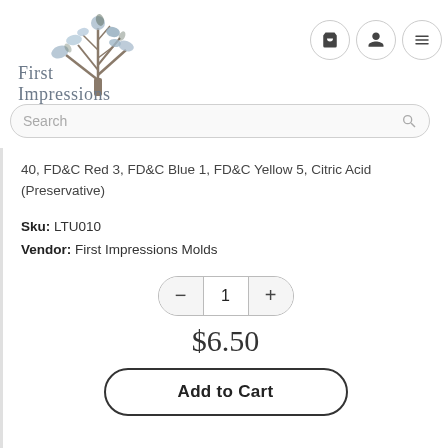[Figure (logo): First Impressions Molds logo with a watercolor tree and stylized text]
Search
40, FD&C Red 3, FD&C Blue 1, FD&C Yellow 5, Citric Acid (Preservative)
Sku: LTU010
Vendor: First Impressions Molds
1
$6.50
Add to Cart